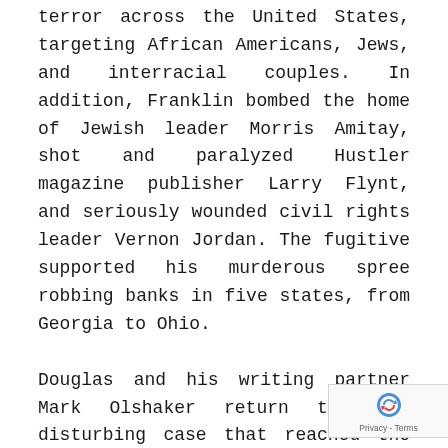terror across the United States, targeting African Americans, Jews, and interracial couples. In addition, Franklin bombed the home of Jewish leader Morris Amitay, shot and paralyzed Hustler magazine publisher Larry Flynt, and seriously wounded civil rights leader Vernon Jordan. The fugitive supported his murderous spree robbing banks in five states, from Georgia to Ohio.
Douglas and his writing partner Mark Olshaker return to this disturbing case that reached the highest levels of the Bureau, which was fearful Franklin would become a presidential assassin–and haunted him for years to come as the threat of copycat domestic terrorist killers increasingly became a reality. Detailing the dogged pursuit of Franklin, the tangled web of tips, and how a determined